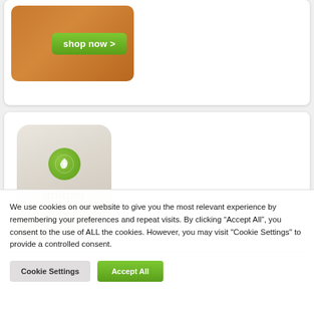[Figure (screenshot): Top card showing an orange tea kettle or product image with a green 'shop now >' button]
[Figure (logo): Adagio Teas product bottle/container with circular green leaf logo and 'adagio teas' text in gray]
We use cookies on our website to give you the most relevant experience by remembering your preferences and repeat visits. By clicking “Accept All”, you consent to the use of ALL the cookies. However, you may visit "Cookie Settings" to provide a controlled consent.
Cookie Settings
Accept All